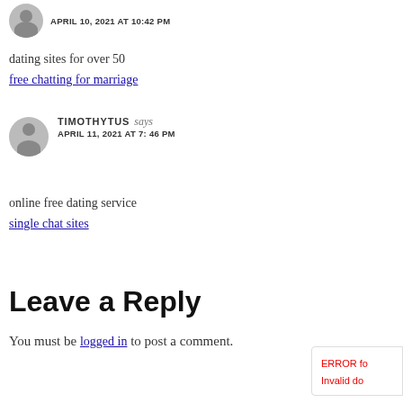APRIL 10, 2021 AT 10:42 PM
dating sites for over 50
free chatting for marriage
TIMOTHYTUS says APRIL 11, 2021 AT 7:46 PM
online free dating service
single chat sites
Leave a Reply
You must be logged in to post a comment.